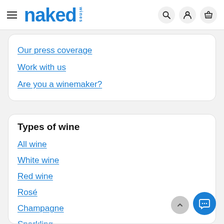naked wines
Our press coverage
Work with us
Are you a winemaker?
Types of wine
All wine
White wine
Red wine
Rosé
Champagne
Sparkling